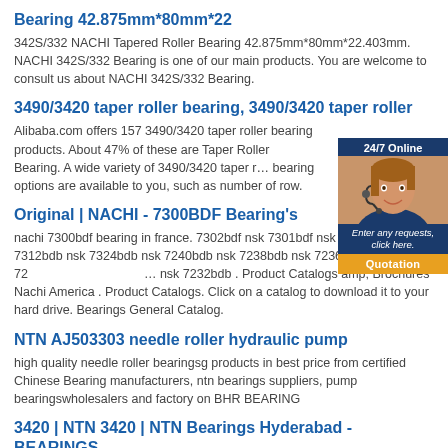Bearing 42.875mm*80mm*22
342S/332 NACHI Tapered Roller Bearing 42.875mm*80mm*22.403mm. NACHI 342S/332 Bearing is one of our main products. You are welcome to consult us about NACHI 342S/332 Bearing.
3490/3420 taper roller bearing, 3490/3420 taper roller
Alibaba.com offers 157 3490/3420 taper roller bearing products. About 47% of these are Taper Roller Bearing. A wide variety of 3490/3420 taper roller bearing options are available to you, such as number of row.
Original | NACHI - 7300BDF Bearing's
nachi 7300bdf bearing in france. 7302bdf nsk 7301bdf nsk 7300bdf nsk 7312bdb nsk 7324bdb nsk 7240bdb nsk 7238bdb nsk 7236bdb nsk 72... nsk 7232bdb . Product Catalogs amp; Brochures Nachi America . Product Catalogs. Click on a catalog to download it to your hard drive. Bearings General Catalog.
NTN AJ503303 needle roller hydraulic pump
high quality needle roller bearingsg products in best price from certified Chinese Bearing manufacturers, ntn bearings suppliers, pump bearingswholesalers and factory on BHR BEARING
3420 | NTN 3420 | NTN Bearings Hyderabad - BEARINGS